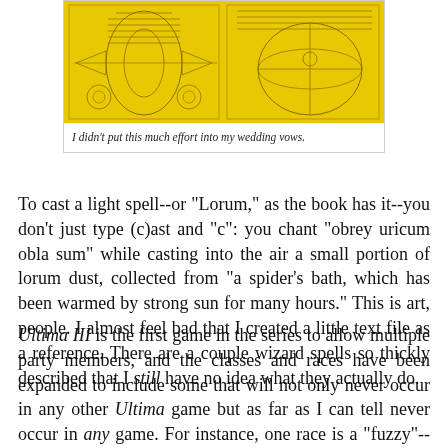[Figure (illustration): Yellow-paged book spread showing ornate mystical diagrams with geometric and decorative patterns on both pages, reminiscent of a fantasy game manual or grimoire.]
I didn't put this much effort into my wedding vows.
To cast a light spell--or "Lorum," as the book has it--you don't just type (c)ast and "c": you chant "obrey uricum obla sum" while casting into the air a small portion of lorum dust, collected from "a spider's bath, which has been warmed by strong sun for many hours." This is art, people. I almost feel bad that I created a little text file as a reference. There are a couple wizard spells so thickly described that I still have no idea what they actually do.
Ultima III is the first game in the series to allow multiple party members, and the classes and races have been expanded to include some that will not only never occur in any other Ultima game but as far as I can tell never occur in any game. For instance, one race is a "fuzzy"--literally little furry creatures--that I suppose could become the emps of Ultima